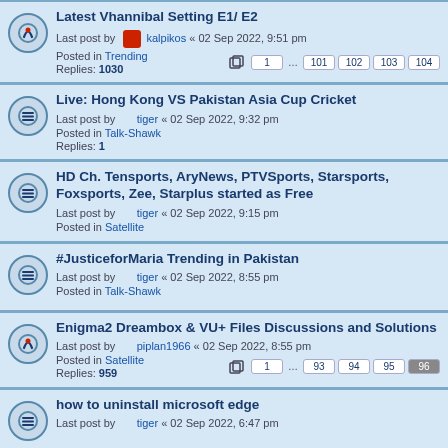Latest Vhannibal Setting E1/ E2 — Last post by kalpikos « 02 Sep 2022, 9:51 pm — Posted in Trending — Replies: 1030 — Pages: 1 ... 101 102 103 104
Live: Hong Kong VS Pakistan Asia Cup Cricket — Last post by tiger « 02 Sep 2022, 9:32 pm — Posted in Talk-Shawk — Replies: 1
HD Ch. Tensports, AryNews, PTVSports, Starsports, Foxsports, Zee, Starplus started as Free — Last post by tiger « 02 Sep 2022, 9:15 pm — Posted in Satellite
#JusticeforMaria Trending in Pakistan — Last post by tiger « 02 Sep 2022, 8:55 pm — Posted in Talk-Shawk
Enigma2 Dreambox & VU+ Files Discussions and Solutions — Last post by piplan1966 « 02 Sep 2022, 8:55 pm — Posted in Satellite — Replies: 959 — Pages: 1 ... 93 94 95 96
how to uninstall microsoft edge — Last post by tiger « 02 Sep 2022, 6:47 pm